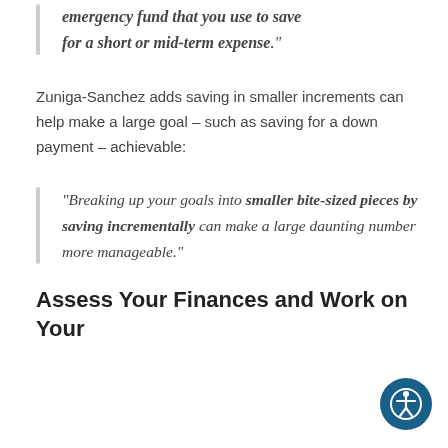emergency fund that you use to save for a short or mid-term expense."
Zuniga-Sanchez adds saving in smaller increments can help make a large goal – such as saving for a down payment – achievable:
"Breaking up your goals into smaller bite-sized pieces by saving incrementally can make a large daunting number more manageable."
Assess Your Finances and Work on Your Savings